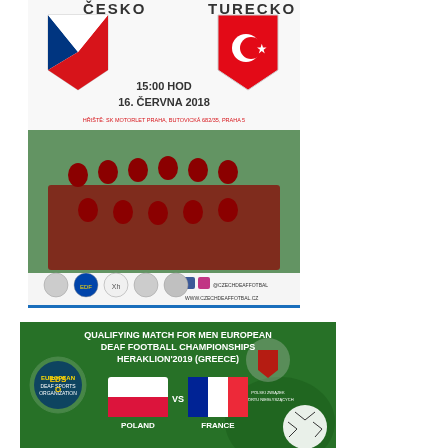[Figure (photo): Czech Republic vs Turkey deaf football match poster. Shows 'ČESKO' vs 'TURECKO', date 15:00 HOD, 16. ČERVNA 2018, venue SK Motorlet Praha, Butovická 682/35, Praha 5. Features Czech and Turkish flag shields, team photo of players in red jerseys on football pitch, and social media handles @CZECHDEAFFOTBAL, www.czechdeaffotbal.cz with sponsor logos.]
[Figure (photo): Qualifying match for Men European Deaf Football Championships Heraklion 2019 (Greece). Poland vs France match poster on green background with player silhouette and football. Features Polish flag (white/red) and French flag (blue/white/red) with country names below. European Deaf Sports Organization logo on left, Polish federation logo on right.]